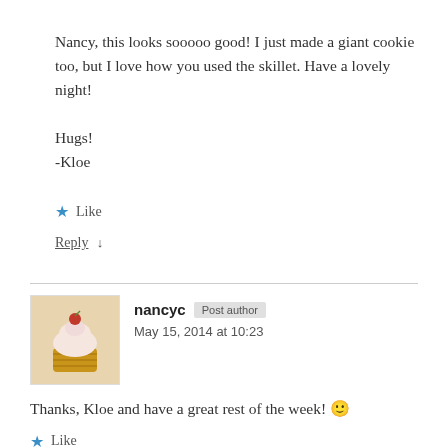Nancy, this looks sooooo good! I just made a giant cookie too, but I love how you used the skillet. Have a lovely night!

Hugs!
-Kloe
★ Like
Reply ↓
nancyc — May 15, 2014 at 10:23
Thanks, Kloe and have a great rest of the week! 🙂
★ Like